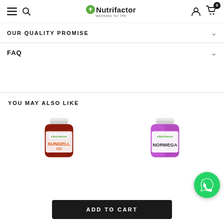Nutrifactor wellness for life
OUR QUALITY PROMISE
FAQ
YOU MAY ALSO LIKE
[Figure (photo): Sungell supplement bottle with red label and white cap, Nutrifactor brand]
[Figure (photo): Normega supplement bottle with purple label and white cap, Nutrifactor brand]
ADD TO CART